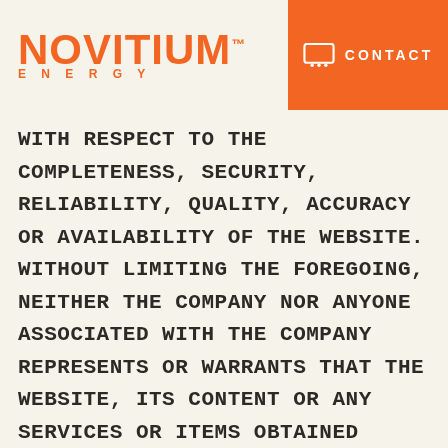NOVITIUM ENERGY — CONTACT
WITH RESPECT TO THE COMPLETENESS, SECURITY, RELIABILITY, QUALITY, ACCURACY OR AVAILABILITY OF THE WEBSITE. WITHOUT LIMITING THE FOREGOING, NEITHER THE COMPANY NOR ANYONE ASSOCIATED WITH THE COMPANY REPRESENTS OR WARRANTS THAT THE WEBSITE, ITS CONTENT OR ANY SERVICES OR ITEMS OBTAINED THROUGH THE WEBSITE WILL BE ACCURATE, RELIABLE, ERROR-FREE OR UNINTERRUPTED, THAT DEFECTS WILL BE CORRECTED, THAT OUR SITE OR THE SERVER THAT MAKES IT AVAILABLE ARE FREE OF